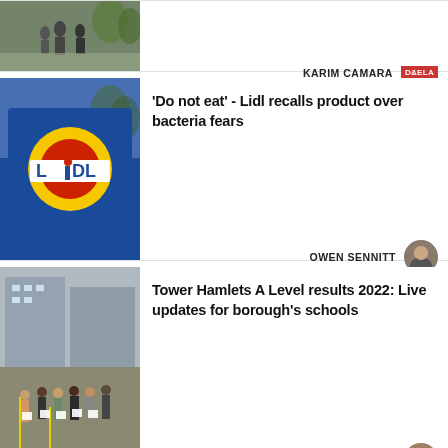[Figure (photo): Partial article card at top showing outdoor scene, with author KARIM CAMARA and D&ELA badge]
[Figure (photo): Lidl store sign with blue background and yellow circle logo]
'Do not eat' - Lidl recalls product over bacteria fears
OWEN SENNITT
[Figure (photo): Group of students holding papers outside a building - Tower Hamlets A Level results]
Tower Hamlets A Level results 2022: Live updates for borough's schools
BEN LYNCH
By clicking “Accept All Cookies”, you agree to the storing of cookies on your device to enhance site navigation, analyze site usage, and assist in our marketing efforts.